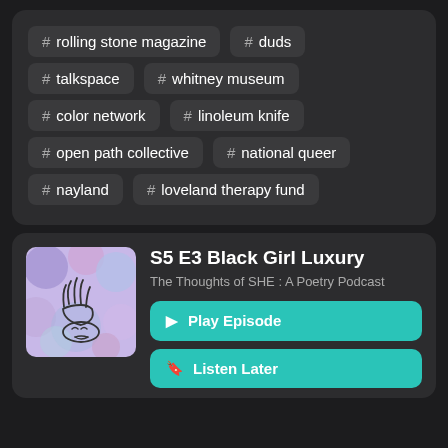# rolling stone magazine
# duds
# talkspace
# whitney museum
# color network
# linoleum knife
# open path collective
# national queer
# nayland
# loveland therapy fund
S5 E3 Black Girl Luxury
The Thoughts of SHE : A Poetry Podcast
▶ Play Episode
🔖 Listen Later